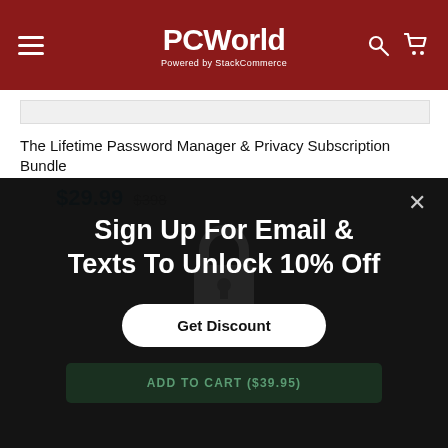PCWorld – Powered by StackCommerce
The Lifetime Password Manager & Privacy Subscription Bundle
$29.99  $398
[Figure (screenshot): Dark modal overlay with X close button, showing 'Sign Up For Email & Texts To Unlock 10% Off' headline, a 'Get Discount' button, and a dim 'ADD TO CART ($39.95)' bar below.]